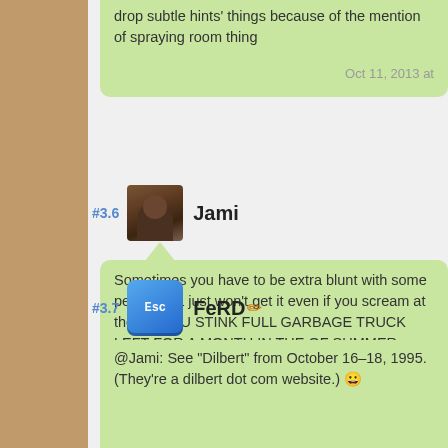drop subtle hints' things because of the mention of spraying room thing

Oct 11, 2013 at
#3.6 Jami
Sometimes you have to be extra blunt with some people. Ca just won't get it even if you scream at them, "YOU STINK FULL GARBAGE TRUCK LEFT FOR A MONTH IN THE OF SUMMER DOUSED IN FREBREEZE!"

Oct 11, 2013 at
#3.7 FeRD
@Jami: See "Dilbert" from October 16–18, 1995. (They're a dilbert dot com website.) 😀